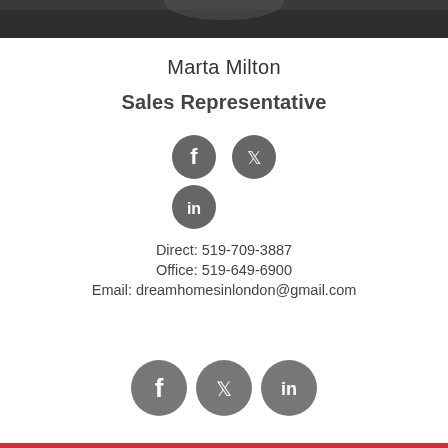[Figure (photo): Top cropped photo strip of a person (Marta Milton), only top of head/shoulders visible, dark background]
Marta Milton
Sales Representative
[Figure (infographic): Three social media icons: Facebook, Twitter, LinkedIn (gray circles)]
Direct: 519-709-3887
Office: 519-649-6900
Email: dreamhomesinlondon@gmail.com
[Figure (infographic): Three social media icons at bottom: Facebook, Twitter, LinkedIn (gray circles, larger)]